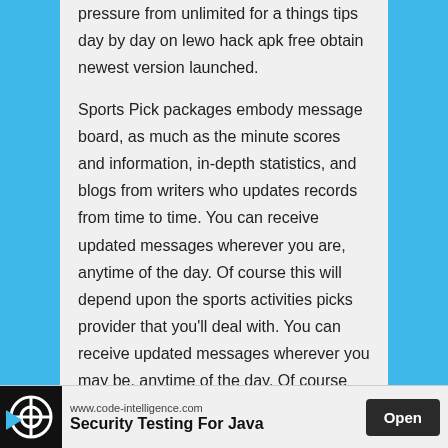pressure from unlimited for a things tips day by day on lewo hack apk free obtain newest version launched.
Sports Pick packages embody message board, as much as the minute scores and information, in-depth statistics, and blogs from writers who updates records from time to time. You can receive updated messages wherever you are, anytime of the day. Of course this will depend upon the sports activities picks provider that you'll deal with. You can receive updated messages wherever you may be, anytime of the day. Of course this can depend on the sports activities picks provider that you will address.
[Figure (screenshot): Advertisement bar at the bottom showing Code Intelligence logo, website www.code-intelligence.com, and 'Security Testing For Java' text with an Open button]